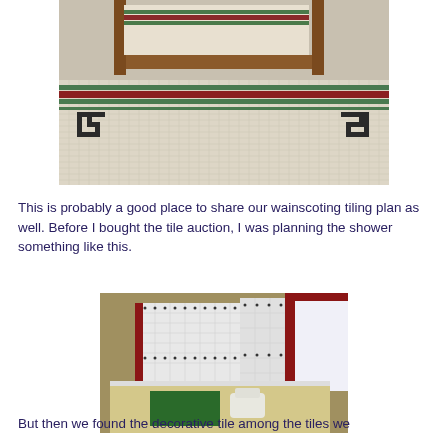[Figure (photo): Photograph of a bathroom floor with classic black and white mosaic tile, featuring a decorative border pattern with dark red/maroon and green accent tiles forming geometric Greek key motifs. Wood trim visible at top.]
This is probably a good place to share our wainscoting tiling plan as well. Before I bought the tile auction, I was planning the shower something like this.
[Figure (illustration): 3D rendered illustration of a bathroom interior showing wainscoting tile plan with white subway tiles on walls, a decorative dot border, dark red door frame, and a green floor mat.]
But then we found the decorative tile among the tiles we